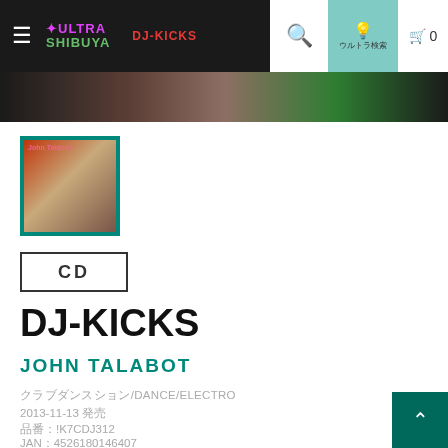ULTRA SHIBUYA | DJ-KICKS | ウルトラ検索 | Cart 0
[Figure (photo): Hero banner image strip showing a dark desert/landscape scene]
[Figure (photo): Album cover thumbnail for John Talabot DJ-Kicks with teal border]
CD
DJ-KICKS
JOHN TALABOT
クラブ/ダンス/DANCE/ELECTRO
2013-11-13 発売
品番：!K7CDJ312
JAN：4526180146407